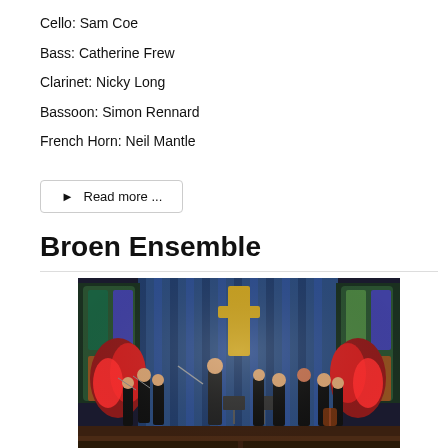Cello: Sam Coe
Bass: Catherine Frew
Clarinet: Nicky Long
Bassoon: Simon Rennard
French Horn: Neil Mantle
▶  Read more ...
Broen Ensemble
[Figure (photo): Orchestra ensemble performing in a church venue with stained glass windows and blue curtain backdrop. Multiple musicians playing string instruments on a decorated stage with red floral arrangements.]
Broen Ensemble